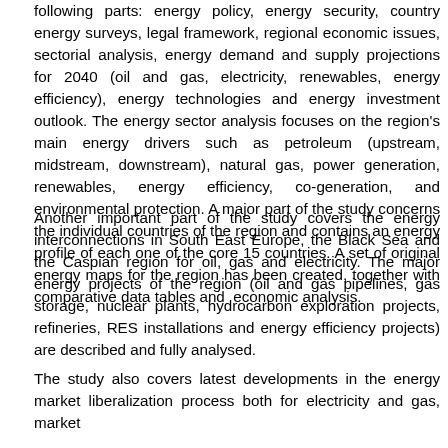following parts: energy policy, energy security, country energy surveys, legal framework, regional economic issues, sectorial analysis, energy demand and supply projections for 2040 (oil and gas, electricity, renewables, energy efficiency), energy technologies and energy investment outlook. The energy sector analysis focuses on the region's main energy drivers such as petroleum (upstream, midstream, downstream), natural gas, power generation, renewables, energy efficiency, co-generation, and environmental protection. A major part of the study concerns the individual countries of the region and contains an energy profile of each one of the core 15 countries. A set of original energy maps for the region has been created, together with comparative data tables and economic analysis.
Another important part of the study covers the energy interconnections in South East Europe, the Black Sea and the Caspian region for oil, gas and electricity. The major energy projects of the region (oil and gas pipelines, gas storage, nuclear plants, hydrocarbon exploration projects, refineries, RES installations and energy efficiency projects) are described and fully analysed.
The study also covers latest developments in the energy market liberalization process both for electricity and gas, market